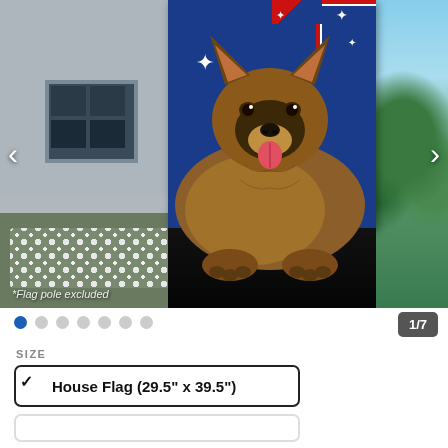[Figure (photo): Product photo of a house flag featuring a German Shepherd dog lying down in front of the Australian flag, displayed outdoors on a flagpole. Navigation arrows on left and right. 'Flag pole excluded' watermark at bottom left.]
*Flag pole excluded
1/7
SIZE
House Flag (29.5" x 39.5")